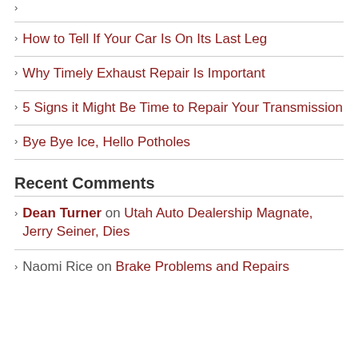How to Tell If Your Car Is On Its Last Leg
Why Timely Exhaust Repair Is Important
5 Signs it Might Be Time to Repair Your Transmission
Bye Bye Ice, Hello Potholes
Recent Comments
Dean Turner on Utah Auto Dealership Magnate, Jerry Seiner, Dies
Naomi Rice on Brake Problems and Repairs